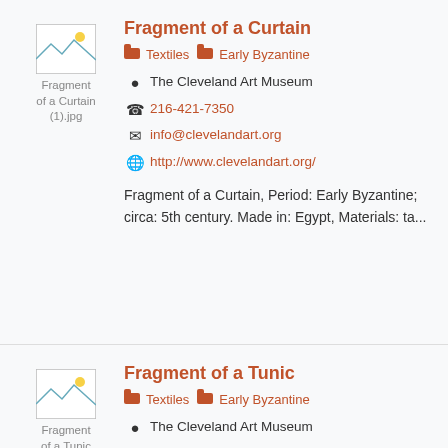[Figure (other): Thumbnail placeholder image for Fragment of a Curtain (1).jpg]
Fragment of a Curtain
Textiles  Early Byzantine
The Cleveland Art Museum
216-421-7350
info@clevelandart.org
http://www.clevelandart.org/
Fragment of a Curtain, Period: Early Byzantine; circa: 5th century. Made in: Egypt, Materials: ta...
[Figure (other): Thumbnail placeholder image for Fragment of a Tunic (2).jpg]
Fragment of a Tunic
Textiles  Early Byzantine
The Cleveland Art Museum
216-421-7350
info@clevelandart.org
http://www.clevelandart.org/
Fragment of a Tunic, Period: Early